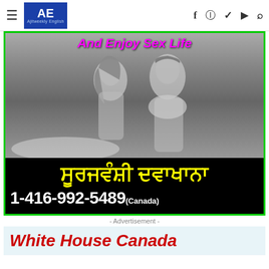AE Ajitweekly English — navigation bar with social icons
[Figure (photo): Advertisement banner with black background and green border. Shows couple in black-and-white photo. Top text in magenta italic bold: 'And Enjoy Sex Life'. Punjabi text in yellow bold. Phone number 1-416-992-5489 (Canada) in white bold.]
- Advertisement -
White House Canada